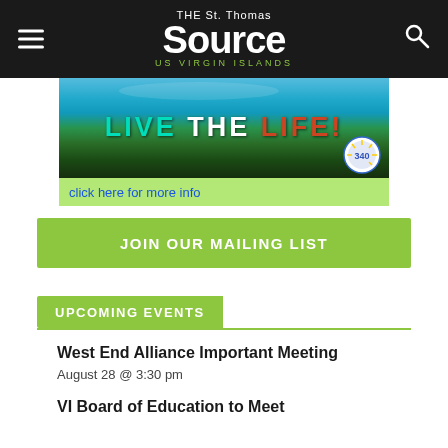THE St. Thomas Source US VIRGIN ISLANDS
[Figure (photo): Advertisement banner showing tropical beach scene with text 'LIVE THE LIFE!' and 'click here for more info' with a 340 badge logo]
JOIN OUR MAILING LIST
UPCOMING EVENTS
West End Alliance Important Meeting
August 28 @ 3:30 pm
VI Board of Education to Meet